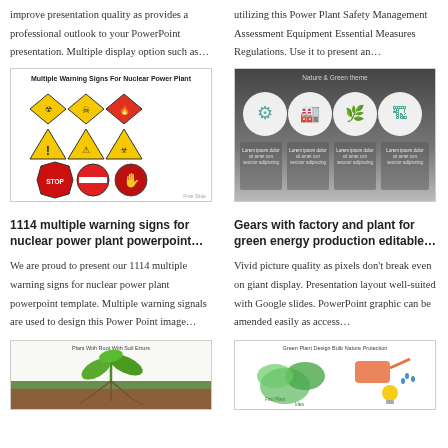improve presentation quality as provides a professional outlook to your PowerPoint presentation. Multiple display option such as…
utilizing this Power Plant Safety Management Assessment Equipment Essential Measures Regulations. Use it to present an…
[Figure (screenshot): Multiple Warning Signs For Nuclear Power Plant slide thumbnail showing 9 warning signs: radiation, biohazard, fire hazard symbols in yellow diamonds, exclamation, person falling, biohazard in yellow triangles, and STOP sign, no entry circle, hand stop in red]
[Figure (screenshot): Nature & Green theme dark slide with 4 circular icons showing gears, factory, battery/leaf, and building with green energy theme and text columns below]
1114 multiple warning signs for nuclear power plant powerpoint…
Gears with factory and plant for green energy production editable…
We are proud to present our 1114 multiple warning signs for nuclear power plant powerpoint template. Multiple warning signals are used to design this Power Point image…
Vivid picture quality as pixels don't break even on giant display. Presentation layout well-suited with Google slides. PowerPoint graphic can be amended easily as access…
[Figure (screenshot): Plant With Root With Soil Errors slide showing a green plant growing from soil cross-section illustration]
[Figure (screenshot): Green Plant Design Bulb Nature Protection slide showing green plant/leaf designs with bulb and watering elements]